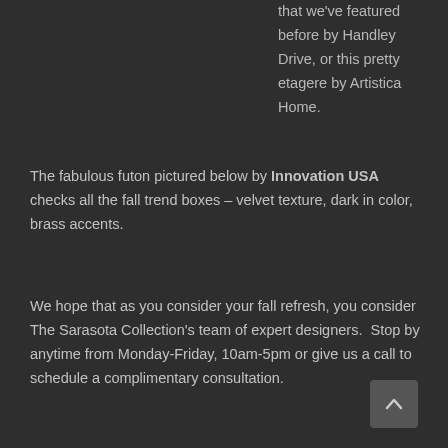that we've featured before by Handley Drive, or this pretty etagere by Artistica Home.
The fabulous futon pictured below by Innovation USA checks all the fall trend boxes – velvet texture, dark in color, brass accents.
We hope that as you consider your fall refresh, you consider The Sarasota Collection's team of expert designers.  Stop by anytime from Monday-Friday, 10am-5pm or give us a call to schedule a complimentary consultation.